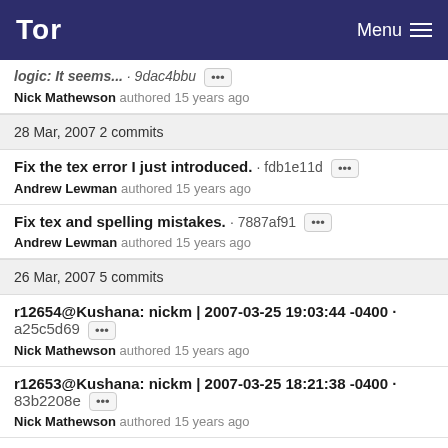Tor · Menu
logic: It seems... · 9dac4bbu ···
Nick Mathewson authored 15 years ago
28 Mar, 2007 2 commits
Fix the tex error I just introduced. · fdb1e11d ···
Andrew Lewman authored 15 years ago
Fix tex and spelling mistakes. · 7887af91 ···
Andrew Lewman authored 15 years ago
26 Mar, 2007 5 commits
r12654@Kushana: nickm | 2007-03-25 19:03:44 -0400 · a25c5d69 ···
Nick Mathewson authored 15 years ago
r12653@Kushana: nickm | 2007-03-25 18:21:38 -0400 · 83b2208e ···
Nick Mathewson authored 15 years ago